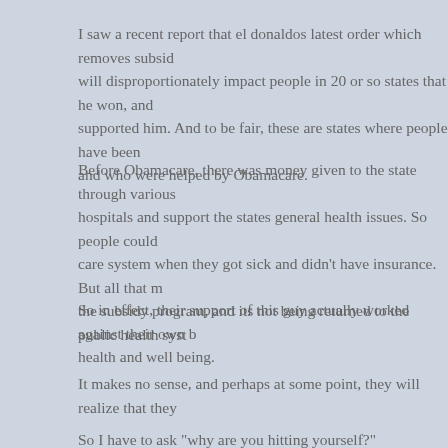I saw a recent report that el donaldos latest order which removes subsid... will disproportionately impact people in 20 or so states that he won, and... supported him. And to be fair, these are states where people have been... and who were helped by Obamacare.
Before Obamacare, there was money given to the state through various... hospitals and support the states general health issues. So people could... care system when they got sick and didn't have insurance. But all that m... the subsidy program, and its not being returned to the public health syst...
So in effect, their support of this guy actually worked against their own b... health and well being.
It makes no sense, and perhaps at some point, they will realize that they...
So I have to ask "why are you hitting yourself?"
at October 17, 2017   No comments:
Sunday, October 15, 2017